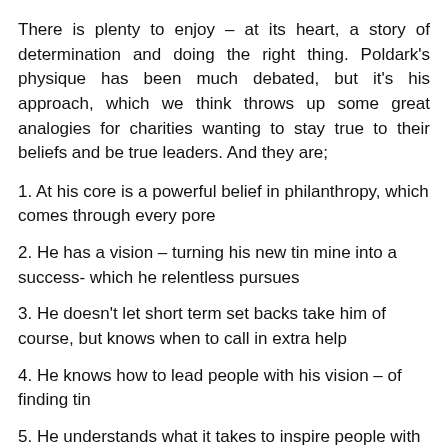There is plenty to enjoy – at its heart, a story of determination and doing the right thing. Poldark's physique has been much debated, but it's his approach, which we think throws up some great analogies for charities wanting to stay true to their beliefs and be true leaders. And they are;
1. At his core is a powerful belief in philanthropy, which comes through every pore
2. He has a vision – turning his new tin mine into a success- which he relentless pursues
3. He doesn't let short term set backs take him of course, but knows when to call in extra help
4. He knows how to lead people with his vision – of finding tin
5. He understands what it takes to inspire people with words as well as actions